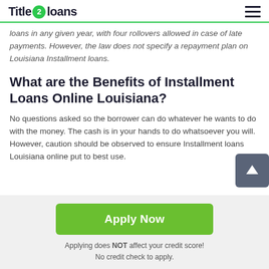Title 2 loans
loans in any given year, with four rollovers allowed in case of late payments. However, the law does not specify a repayment plan on Louisiana Installment loans.
What are the Benefits of Installment Loans Online Louisiana?
No questions asked so the borrower can do whatever he wants to do with the money. The cash is in your hands to do whatsoever you will. However, caution should be observed to ensure Installment loans Louisiana online put to best use.
Apply Now
Applying does NOT affect your credit score!
No credit check to apply.